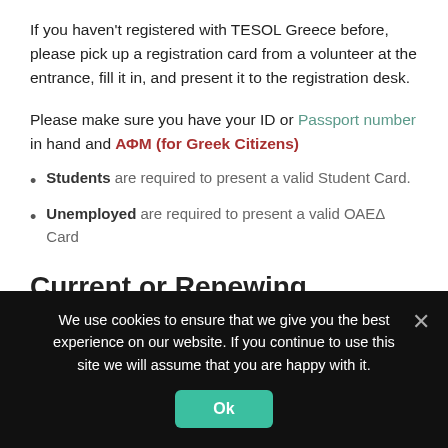If you haven't registered with TESOL Greece before, please pick up a registration card from a volunteer at the entrance, fill it in, and present it to the registration desk.
Please make sure you have your ID or Passport number in hand and ΑΦΜ (for Greek Citizens)
Students are required to present a valid Student Card.
Unemployed are required to present a valid ΟΑΕΔ Card
Current or Renewing Members
We use cookies to ensure that we give you the best experience on our website. If you continue to use this site we will assume that you are happy with it.